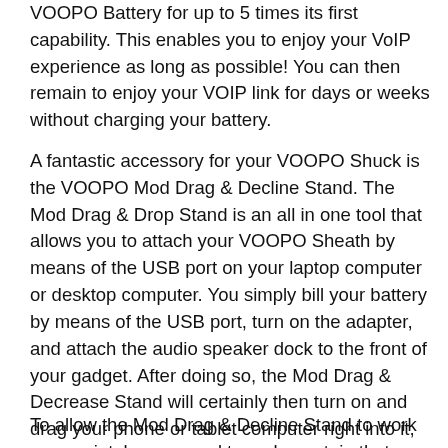VOOPO Battery for up to 5 times its first capability. This enables you to enjoy your VoIP experience as long as possible! You can then remain to enjoy your VOIP link for days or weeks without charging your battery.
A fantastic accessory for your VOOPO Shuck is the VOOPO Mod Drag & Decline Stand. The Mod Drag & Drop Stand is an all in one tool that allows you to attach your VOOPO Sheath by means of the USB port on your laptop computer or desktop computer. You simply bill your battery by means of the USB port, turn on the adapter, and attach the audio speaker dock to the front of your gadget. After doing so, the Mod Drag & Decrease Stand will certainly then turn on and drag your phone or tablet computer right into it, billing it immediately.
To allow the Mod Drag & Decline Stand to work appropriately, you need to make certain that your gadget